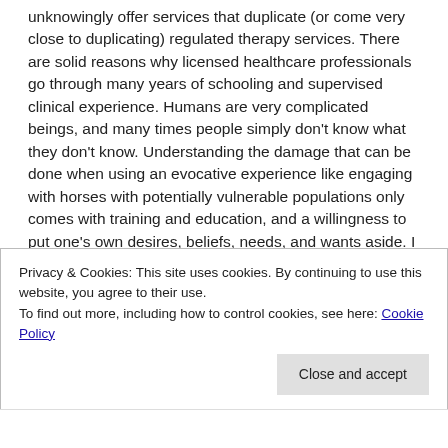unknowingly offer services that duplicate (or come very close to duplicating) regulated therapy services. There are solid reasons why licensed healthcare professionals go through many years of schooling and supervised clinical experience. Humans are very complicated beings, and many times people simply don't know what they don't know. Understanding the damage that can be done when using an evocative experience like engaging with horses with potentially vulnerable populations only comes with training and education, and a willingness to put one's own desires, beliefs, needs, and wants aside. I was a horse person first, an experiential educator second, and finally a therapist. So, I can tell you that it was only after I went through my years of training, education, and supervised experience did I really
Privacy & Cookies: This site uses cookies. By continuing to use this website, you agree to their use.
To find out more, including how to control cookies, see here: Cookie Policy